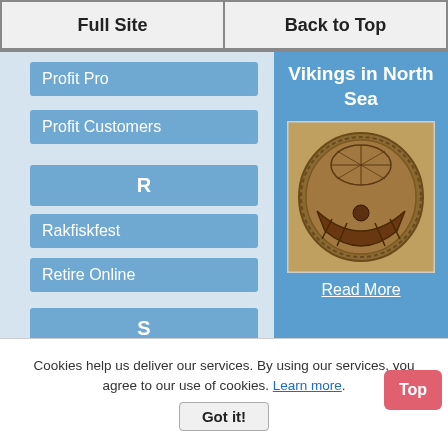Full Site | Back to Top
Profit Pro
Profit Customers
R
Rakfiskfest
Retire Online
S
Sales Letter
Saltstraumen
Service
Ski Berwang
Ski Hardanger
[Figure (infographic): Blue card with title 'Vikings in North Sea', a circular carved Viking coin image, and a 'Read More' link]
[Figure (infographic): Green card with text 'Berdorf Luxembourg Nature of the Müllerthal Trail']
Top
Cookies help us deliver our services. By using our services, you agree to our use of cookies. Learn more. Got it!